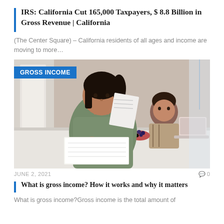IRS: California Cut 165,000 Taxpayers, $ 8.8 Billion in Gross Revenue | California
(The Center Square) – California residents of all ages and income are moving to more…
[Figure (photo): A woman writing in a notebook while reviewing documents, with a young child sitting next to her at a kitchen counter with a laptop and bowl of blueberries. A blue label reads 'GROSS INCOME' in the top left corner.]
JUNE 2, 2021    💬 0
What is gross income? How it works and why it matters
What is gross income?Gross income is the total amount of